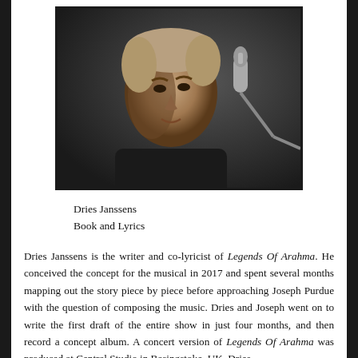[Figure (photo): Black and white portrait photograph of Dries Janssens, a young man, with a microphone visible in the foreground/right side.]
Dries Janssens
Book and Lyrics
Dries Janssens is the writer and co-lyricist of Legends Of Arahma. He conceived the concept for the musical in 2017 and spent several months mapping out the story piece by piece before approaching Joseph Purdue with the question of composing the music. Dries and Joseph went on to write the first draft of the entire show in just four months, and then record a concept album. A concert version of Legends Of Arahma was produced at Central Studio in Basingstoke, UK. Dries